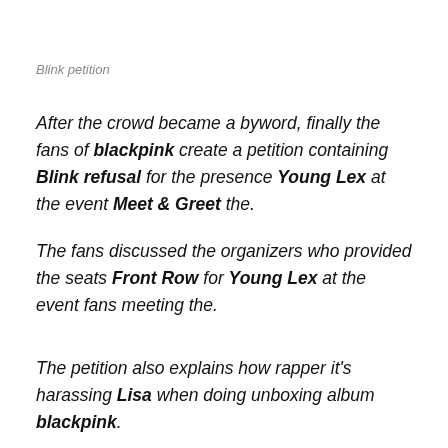Blink petition
After the crowd became a byword, finally the fans of blackpink create a petition containing Blink refusal for the presence Young Lex at the event Meet & Greet the.
The fans discussed the organizers who provided the seats Front Row for Young Lex at the event fans meeting the.
The petition also explains how rapper it's harassing Lisa when doing unboxing album blackpink.